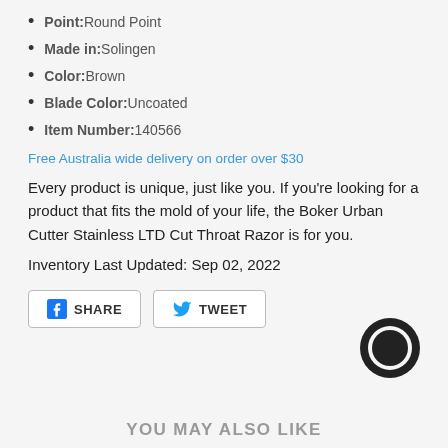Point: Round Point
Made in: Solingen
Color: Brown
Blade Color: Uncoated
Item Number: 140566
Free Australia wide delivery on order over $30
Every product is unique, just like you. If you're looking for a product that fits the mold of your life, the Boker Urban Cutter Stainless LTD Cut Throat Razor is for you.
Inventory Last Updated: Sep 02, 2022
[Figure (other): Share on Facebook and Tweet buttons, plus a chat widget icon]
YOU MAY ALSO LIKE